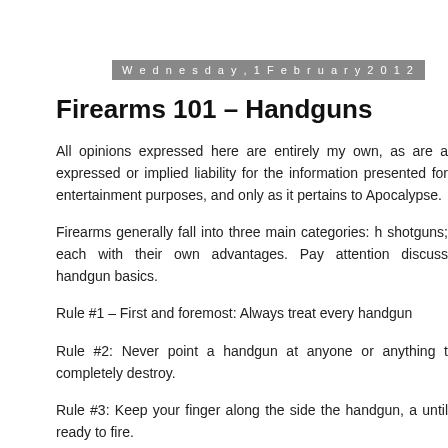Wednesday, 1 February 2012
Firearms 101 – Handguns
All opinions expressed here are entirely my own, as are a expressed or implied liability for the information presented for entertainment purposes, and only as it pertains to Apocalypse.
Firearms generally fall into three main categories: h shotguns; each with their own advantages. Pay attention discuss handgun basics.
Rule #1 – First and foremost: Always treat every handgun
Rule #2: Never point a handgun at anyone or anything t completely destroy.
Rule #3: Keep your finger along the side the handgun, a until ready to fire.